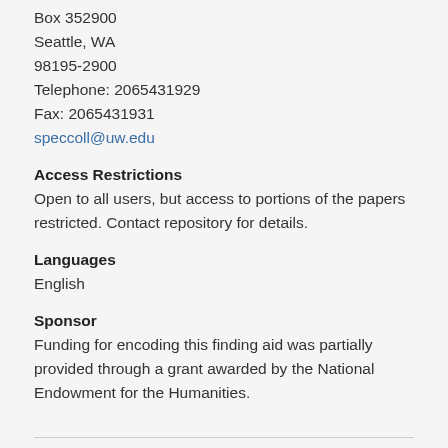Box 352900
Seattle, WA
98195-2900
Telephone: 2065431929
Fax: 2065431931
speccoll@uw.edu
Access Restrictions
Open to all users, but access to portions of the papers restricted. Contact repository for details.
Languages
English
Sponsor
Funding for encoding this finding aid was partially provided through a grant awarded by the National Endowment for the Humanities.